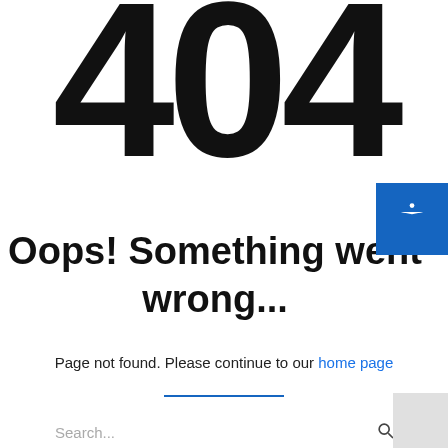404
Oops! Something went wrong...
Page not found. Please continue to our home page
[Figure (other): Blue horizontal divider line]
[Figure (other): Search bar with magnifying glass icon]